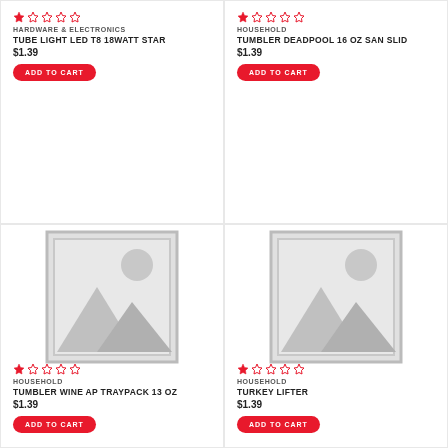[Figure (illustration): Star rating (1 star filled, 4 empty) for product 1]
HARDWARE & ELECTRONICS
TUBE LIGHT LED T8 18WATT STAR
$1.39
ADD TO CART
[Figure (illustration): Star rating (1 star filled, 4 empty) for product 2]
HOUSEHOLD
TUMBLER DEADPOOL 16 OZ SAN SLID
$1.39
ADD TO CART
[Figure (photo): Placeholder product image with mountain/landscape icon and sun for product 3 (TUMBLER WINE AP TRAYPACK 13 OZ)]
[Figure (photo): Placeholder product image with mountain/landscape icon and sun for product 4 (TURKEY LIFTER)]
[Figure (illustration): Star rating (1 star filled, 4 empty) for product 3]
HOUSEHOLD
TUMBLER WINE AP TRAYPACK 13 OZ
$1.39
ADD TO CART
[Figure (illustration): Star rating (1 star filled, 4 empty) for product 4]
HOUSEHOLD
TURKEY LIFTER
$1.39
ADD TO CART